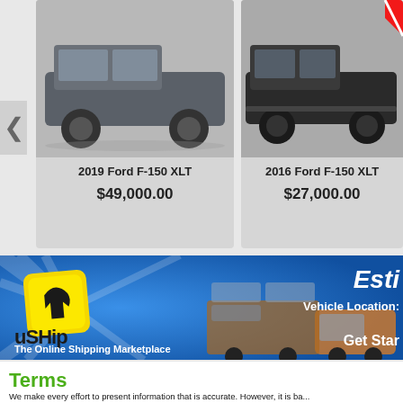[Figure (photo): 2019 Ford F-150 XLT dark gray truck photo]
2019 Ford F-150 XLT
$49,000.00
[Figure (photo): 2016 Ford F-150 XLT black truck photo with red sale tag visible]
2016 Ford F-150 XLT
$27,000.00
[Figure (logo): uShip banner - The Online Shipping Marketplace with car carrier truck image. Text: Esti... Vehicle Location: Get Star...]
Terms
We make every effort to present information that is accurate. However, it is ba... manufacturer and/or owner and other sources and therefore exact configuratio... should be used as a guide only and are not guaranteed. We are not liable for... nature. Inventory is subject to prior sale and prices are subject to change with... other offer(s). The price for listed vehicles as equipped does not include oth...